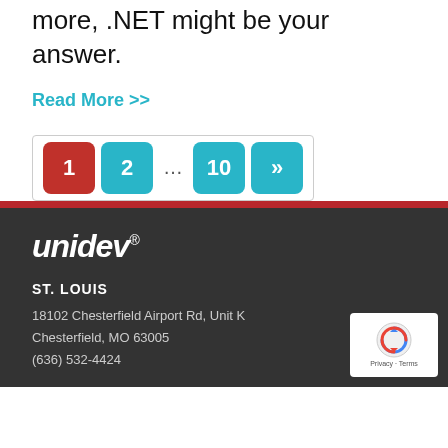more, .NET might be your answer.
Read More >>
[Figure (other): Pagination controls with numbered buttons: 1 (red/active), 2 (teal), ... (dots), 10 (teal), >> (teal next arrow)]
unidev® ST. LOUIS 18102 Chesterfield Airport Rd, Unit K Chesterfield, MO 63005 (636) 532-4424